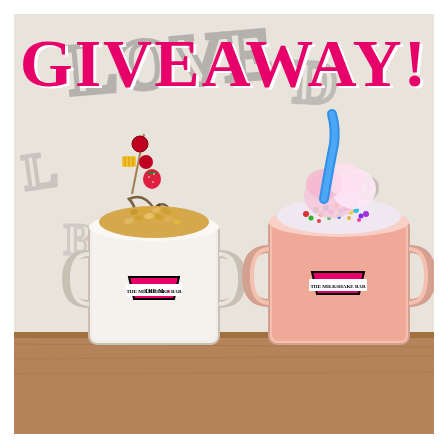[Figure (photo): Two large milkshake mason jars with The Milkshake Bar logos. Left jar is white/vanilla milkshake topped with cereal, fruit skewer (cherries, pineapple, strawberries), and chocolate drizzle. Right jar is pink/strawberry milkshake topped with colorful sprinkles, marshmallows, blue gummy worm, and cotton candy. Both sit on a wooden surface against a white graffiti wall. Large pink bold text 'GIVEAWAY!' overlays the top of the image.]